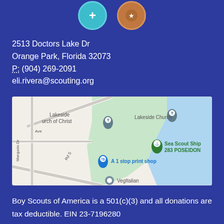[Figure (illustration): Two partial circular icons at top — one teal with a plus sign, one orange/brown with a badge]
2513 Doctors Lake Dr
Orange Park, Florida 32073
P: (904) 269-2091
eli.rivera@scouting.org
[Figure (map): Google Maps screenshot showing the area around 2513 Doctors Lake Dr, Orange Park, FL. Visible labels include Lakeside Church of Christ, Lakeside Church, Sea Scout Ship 283 POSEIDON, A 1 stop print shop, VegItalian, Marquois Dr, Rd S, Ave.]
Boy Scouts of America is a 501(c)(3) and all donations are tax deductible. EIN 23-7196280
Copyright © 2009 - 2022 Aquatics Camp, Boy Scouts of America. All rights reserved.